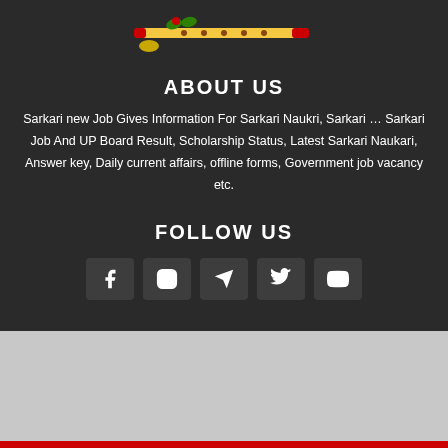[Figure (illustration): Decorative logo with a flute/bansuri instrument in yellow and red colors]
ABOUT US
Sarkari new Job Gives Information For Sarkari Naukri, Sarkari … Sarkari Job And UP Board Result, Scholarship Status, Latest Sarkari Naukari, Answer key, Daily current affairs, offline forms, Government job vacancy etc.
FOLLOW US
[Figure (infographic): Five social media icons: Facebook, Instagram, Telegram, Twitter, YouTube — displayed as small rounded rectangle buttons with white icons on dark gray background]